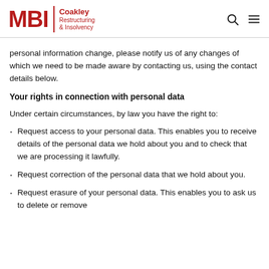MBI Coakley Restructuring & Insolvency
personal information change, please notify us of any changes of which we need to be made aware by contacting us, using the contact details below.
Your rights in connection with personal data
Under certain circumstances, by law you have the right to:
Request access to your personal data. This enables you to receive details of the personal data we hold about you and to check that we are processing it lawfully.
Request correction of the personal data that we hold about you.
Request erasure of your personal data. This enables you to ask us to delete or remove